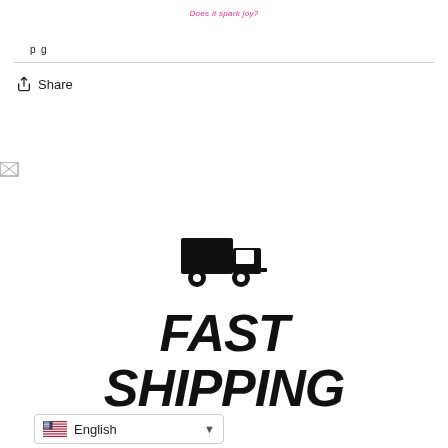Does it spark joy?
shipping
Share
[Figure (illustration): Broken image placeholder icon in upper left]
[Figure (illustration): Black delivery truck icon]
FAST SHIPPING
English (language selector dropdown with US flag)